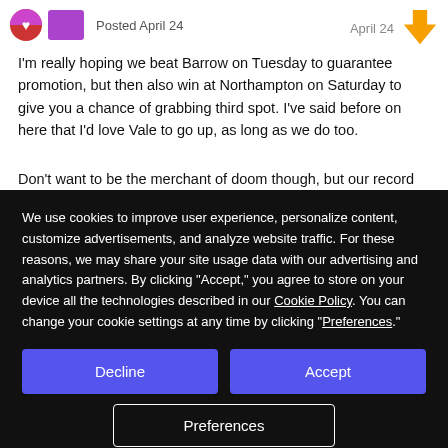Posted April 24   April 24
I'm really hoping we beat Barrow on Tuesday to guarantee promotion, but then also win at Northampton on Saturday to give you a chance of grabbing third spot. I've said before on here that I'd love Vale to go up, as long as we do too.
Don't want to be the merchant of doom though, but our record at
We use cookies to improve user experience, personalize content, customize advertisements, and analyze website traffic. For these reasons, we may share your site usage data with our advertising and analytics partners. By clicking “Accept,” you agree to store on your device all the technologies described in our Cookie Policy. You can change your cookie settings at any time by clicking “Preferences.”
Decline
Accept
Preferences